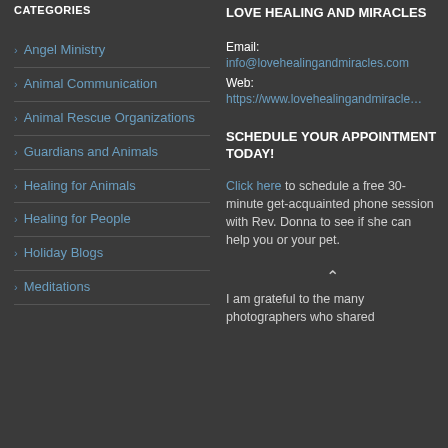CATEGORIES
Angel Ministry
Animal Communication
Animal Rescue Organizations
Guardians and Animals
Healing for Animals
Healing for People
Holiday Blogs
Meditations
LOVE HEALING AND MIRACLES
Email: info@lovehealingandmiracles.com
Web: https://www.lovehealingandmiracles.com
SCHEDULE YOUR APPOINTMENT TODAY!
Click here to schedule a free 30-minute get-acquainted phone session with Rev. Donna to see if she can help you or your pet.
I am grateful to the many photographers who shared